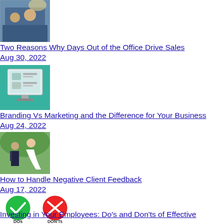[Figure (photo): Photo of people in a car, driving, business/sales context]
Two Reasons Why Days Out of the Office Drive Sales
Aug 30, 2022
[Figure (screenshot): Screenshot of a computer monitor showing a web page or application, teal/green background]
Branding Vs Marketing and the Difference for Your Business
Aug 24, 2022
[Figure (photo): Photo of a bride and groom outdoors]
How to Handle Negative Client Feedback
Aug 17, 2022
[Figure (illustration): Illustration showing DO's and DON'Ts icons - green checkmark and red X]
Investing in Your Employees: Do's and Don'ts of Effective